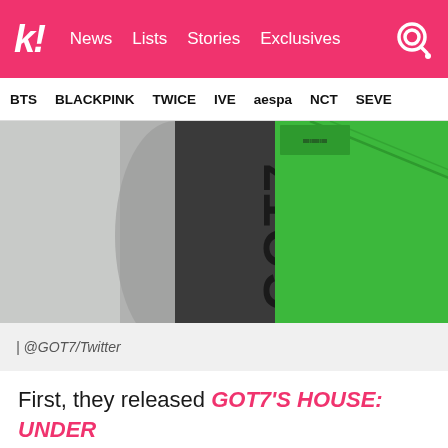k! News Lists Stories Exclusives
BTS BLACKPINK TWICE IVE aespa NCT SEVE
[Figure (photo): GOT7 album product photo - a green square album box with 'GOT7' printed vertically on the spine, displayed at an angle on a light gray background]
| @GOT7/Twitter
First, they released GOT7'S HOUSE: UNDER